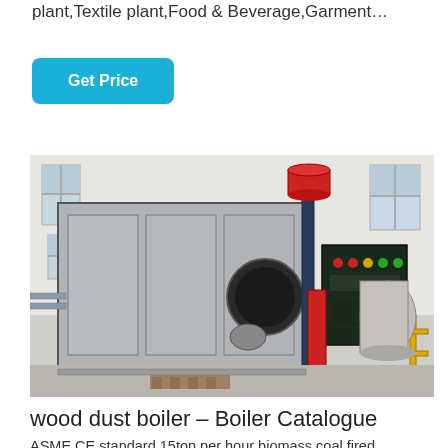plant,Textile plant,Food & Beverage,Garment…
Get Price
[Figure (photo): Industrial biomass/coal fired steam boiler with burner unit, control panel, and red cylindrical fuel hopper, installed inside a factory building.]
wood dust boiler – Boiler Catalogue
ASME CE standard 15ton per hour biomass coal fired